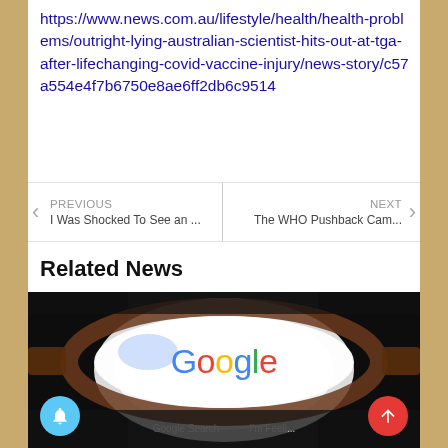https://www.news.com.au/lifestyle/health/health-problems/outright-lying-australian-scientist-hits-out-at-tga-after-lifechanging-covid-vaccine-injury/news-story/c57a554e4f7b6750e8ae6ff2db6c9514
PREVIOUS: I Was Shocked To See an ... | NEXT: The WHO Pushback Cam...
Related News
[Figure (photo): A blurred photo of glasses with the Google logo visible through the lens, with 'Google Search' and 'I'm Feeli...' text visible at the bottom]